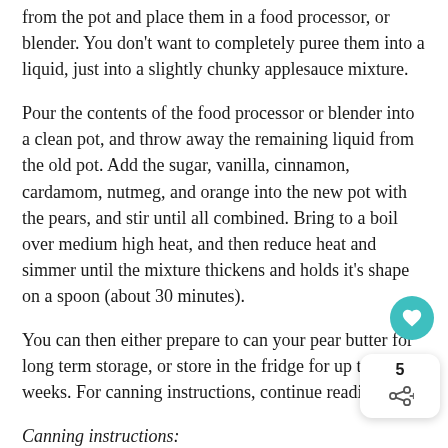from the pot and place them in a food processor, or blender. You don't want to completely puree them into a liquid, just into a slightly chunky applesauce mixture.
Pour the contents of the food processor or blender into a clean pot, and throw away the remaining liquid from the old pot. Add the sugar, vanilla, cinnamon, cardamom, nutmeg, and orange into the new pot with the pears, and stir until all combined. Bring to a boil over medium high heat, and then reduce heat and simmer until the mixture thickens and holds it's shape on a spoon (about 30 minutes).
You can then either prepare to can your pear butter for long term storage, or store in the fridge for up to two weeks. For canning instructions, continue reading.
Canning instructions:
While your waiting for your pear sauce to thicken, wash your jars with hot soapy water to sterilize them. Place the lids of the jars (not the rings), in a small sauce pan with water on the